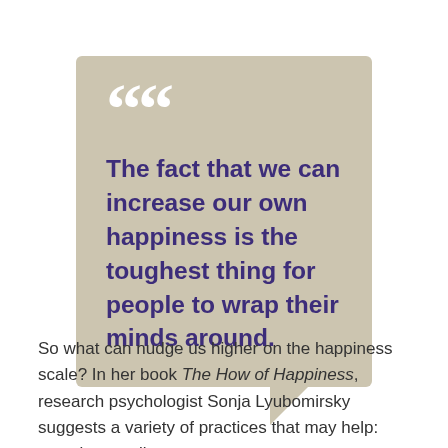The fact that we can increase our own happiness is the toughest thing for people to wrap their minds around.
So what can nudge us higher on the happiness scale? In her book The How of Happiness, research psychologist Sonja Lyubomirsky suggests a variety of practices that may help: savoring small